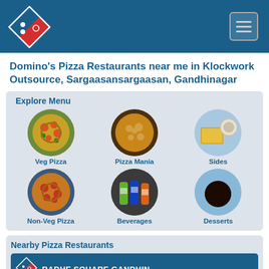[Figure (logo): Domino's Pizza logo — red and blue diamond shape with dots]
[Figure (other): Hamburger menu icon button]
Domino's Pizza Restaurants near me in Klockwork Outsource, Sargaasansargaasan, Gandhinagar
Explore Menu
[Figure (photo): Circular image of a Veg Pizza]
Veg Pizza
[Figure (photo): Circular image of Pizza Mania]
Pizza Mania
[Figure (photo): Circular image of Sides — samosa/bread with dipping sauce]
Sides
[Figure (photo): Circular image of Non-Veg Pizza with pepperoni]
Non-Veg Pizza
[Figure (photo): Circular image of Beverages — Pepsi, Mountain Dew, and other bottles]
Beverages
[Figure (photo): Circular image of Desserts — chocolate lava cake]
Desserts
Nearby Pizza Restaurants
RADHE SQUARE GANDHIN...